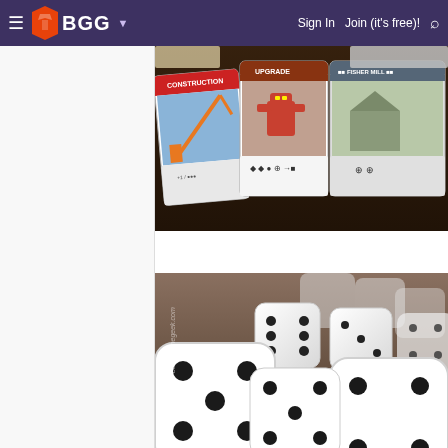BGG — Sign In | Join (it's free)!
[Figure (photo): Board game cards laid out on a dark wooden table, showing Construction, Upgrade, and Fisher Mill cards with robot/crane artwork]
[Figure (photo): Multiple white dice with black dots arranged in a pile, photographed up close with shallow depth of field]